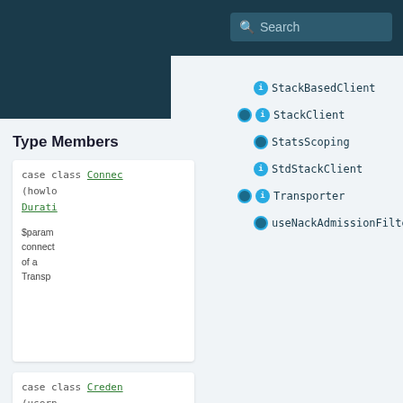Search
Type Members
case class Connec
(howlo
Durati
$param
connect
of a
Transp
case class Creden
(usern
String
passwo
String
This clas
wraps th
userna
passwo
we use f
http...
StackBasedClient
StackClient
StatsScoping
StdStackClient
Transporter
useNackAdmissionFilter